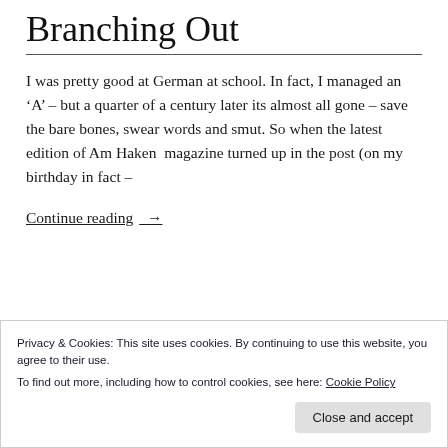Branching Out
I was pretty good at German at school. In fact, I managed an 'A' – but a quarter of a century later its almost all gone – save the bare bones, swear words and smut. So when the latest edition of Am Haken  magazine turned up in the post (on my birthday in fact –
Continue reading →
Privacy & Cookies: This site uses cookies. By continuing to use this website, you agree to their use.
To find out more, including how to control cookies, see here: Cookie Policy